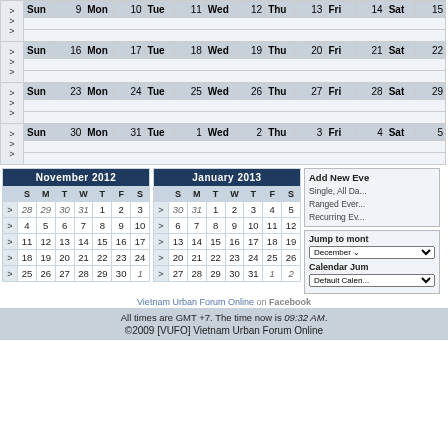|  | Sun |  | Mon |  | Tue |  | Wed |  | Thu |  | Fri |  | Sat |  |
| --- | --- | --- | --- | --- | --- | --- | --- | --- | --- | --- | --- | --- | --- | --- |
| > | Sun | 9 | Mon | 10 | Tue | 11 | Wed | 12 | Thu | 13 | Fri | 14 | Sat | 15 |
| > |  |  |  |  |  |  |  |  |  |  |  |  |  |  |
| > | Sun | 16 | Mon | 17 | Tue | 18 | Wed | 19 | Thu | 20 | Fri | 21 | Sat | 22 |
| > | Sun | 23 | Mon | 24 | Tue | 25 | Wed | 26 | Thu | 27 | Fri | 28 | Sat | 29 |
| > | Sun | 30 | Mon | 31 | Tue | 1 | Wed | 2 | Thu | 3 | Fri | 4 | Sat | 5 |
|  | S | M | T | W | T | F | S |
| --- | --- | --- | --- | --- | --- | --- | --- |
| > | 28 | 29 | 30 | 31 | 1 | 2 | 3 |
| > | 4 | 5 | 6 | 7 | 8 | 9 | 10 |
| > | 11 | 12 | 13 | 14 | 15 | 16 | 17 |
| > | 18 | 19 | 20 | 21 | 22 | 23 | 24 |
| > | 25 | 26 | 27 | 28 | 29 | 30 | 1 |
|  | S | M | T | W | T | F | S |
| --- | --- | --- | --- | --- | --- | --- | --- |
| > | 30 | 31 | 1 | 2 | 3 | 4 | 5 |
| > | 6 | 7 | 8 | 9 | 10 | 11 | 12 |
| > | 13 | 14 | 15 | 16 | 17 | 18 | 19 |
| > | 20 | 21 | 22 | 23 | 24 | 25 | 26 |
| > | 27 | 28 | 29 | 30 | 31 | 1 | 2 |
Add New Event
Single, All Da...
Ranged Ever...
Recurring Ev...
Jump to mont
December
Calendar Jum
Default Calen...
Vietnam Urban Forum Online on Facebook
All times are GMT +7. The time now is 09:32 AM.
©2009 [VUFO] Vietnam Urban Forum Online